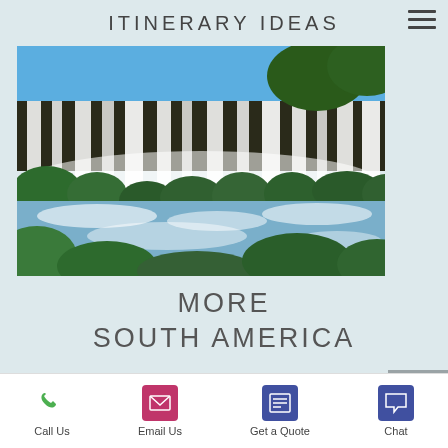ITINERARY IDEAS
[Figure (photo): Large waterfall scene with lush green vegetation, blue sky, and rushing white water at the base (Iguazu Falls)]
MORE SOUTH AMERICA
Explore
Call Us | Email Us | Get a Quote | Chat